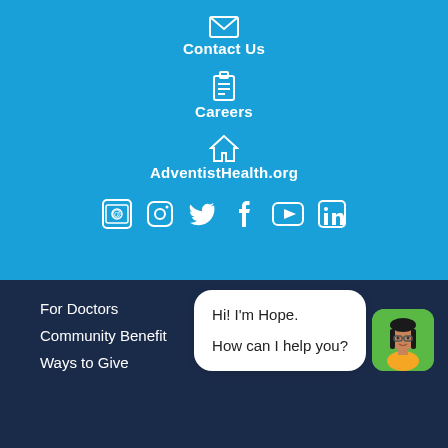Contact Us
Careers
AdventistHealth.org
[Figure (infographic): Social media icons row: email/newsletter, Instagram, Twitter, Facebook, YouTube, LinkedIn]
For Doctors
Community Benefit
Ways to Give
[Figure (illustration): Chat bot widget: speech bubble saying 'Hi! I'm Hope. How can I help you?' with avatar of a woman with glasses on a green rounded square background]